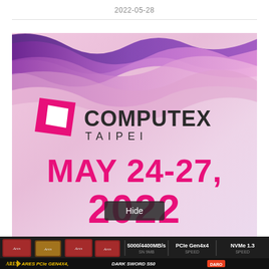2022-05-28
[Figure (photo): Computex Taipei promotional banner showing the event logo with a pink rhombus icon, COMPUTEX TAIPEI text, and MAY 24-27, 2022 date in magenta on a light pink background with purple wave decorations at top. A 'Hide' button overlay is visible.]
[Figure (photo): Advertisement banner for ARES PCIe GEN4x4 Dark Sword SSD showing multiple SSD drives against a dark background with specs: 5000/4400MB/s, PCIe Gen4x4, NVMe 1.3, and DARO branding.]